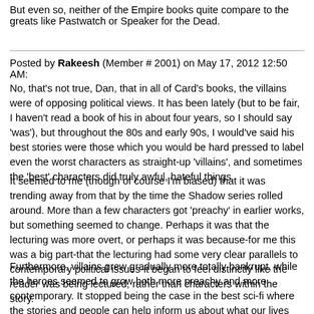But even so, neither of the Empire books quite compare to the greats like Pastwatch or Speaker for the Dead.
Posted by Rakeesh (Member # 2001) on May 17, 2012 12:50 AM:
No, that's not true, Dan, that in all of Card's books, the villains were of opposing political views. It has been lately (but to be fair, I haven't read a book of his in about four years, so I should say 'was'), but throughout the 80s and early 90s, I would've said his best stories were those which you would be hard pressed to label even the worst characters as straight-up 'villains', and sometimes the 'best' characters did truly awful, hateful things.
It seemed to me (though of course I'm biased) that it was trending away from that by the time the Shadow series rolled around. More than a few characters got 'preachy' in earlier works, but something seemed to change. Perhaps it was that the lecturing was more overt, or perhaps it was because-for me this was a big part-that the lecturing had some very clear parallels to contemporary political issues-it began to feel distinctly like the reader was being lectured, rather than characters within the story.
Furthermore, villains grew gradually more totally bankrupt, while the heroes seemed to grow both more preachy and more contemporary. It stopped being the case in the best sci-fi where the stories and people can help inform us about what our lives mean, but rather began to smell distinctly of efforts to directly inform us about our lives. I still remember the feelings of irritation and regret I had reading, I forget which of the Shadow books exactly it was now, but the one in which a certain geneticist holds forth on what it means to procreate. His thoughts were, in many cases, things I thought had a lot of truth to them, but layered throughout it was